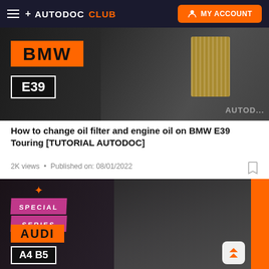+ AUTODOC CLUB  MY ACCOUNT
[Figure (screenshot): BMW E39 video thumbnail showing oil filter being held, with orange BMW label and E39 model badge on dark background]
How to change oil filter and engine oil on BMW E39 Touring [TUTORIAL AUTODOC]
2K views • Published on: 08/01/2022
[Figure (screenshot): SPECIAL SERIES video thumbnail showing a woman mechanic in Autodoc cap holding an oil filter, with AUDI A4 B5 badge, pink special series ribbon, and orange AUDI label]